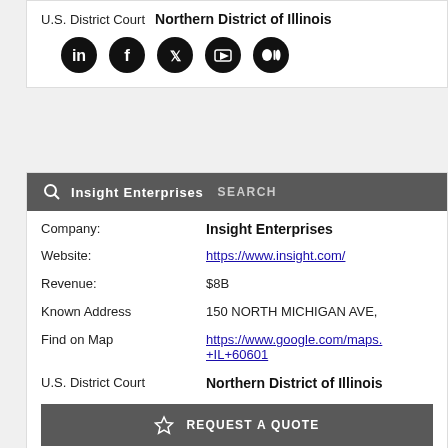U.S. District Court  Northern District of Illinois
[Figure (screenshot): Row of social media icons (LinkedIn, Facebook, Twitter, YouTube, Medium) as black circles]
| Company: | Insight Enterprises |
| Website: | https://www.insight.com/ |
| Revenue: | $8B |
| Known Address | 150 NORTH MICHIGAN AVE, |
| Find on Map | https://www.google.com/maps. +IL+60601 |
| U.S. District Court | Northern District of Illinois |
[Figure (screenshot): REQUEST A QUOTE button with star icon on dark gray background]